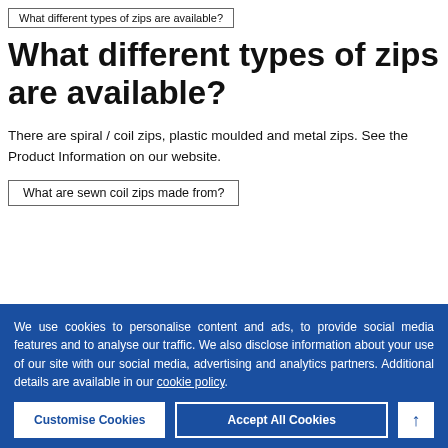What different types of zips are available?
What different types of zips are available?
There are spiral / coil zips, plastic moulded and metal zips. See the Product Information on our website.
What are sewn coil zips made from?
We use cookies to personalise content and ads, to provide social media features and to analyse our traffic. We also disclose information about your use of our site with our social media, advertising and analytics partners. Additional details are available in our cookie policy.
Customise Cookies
Accept All Cookies